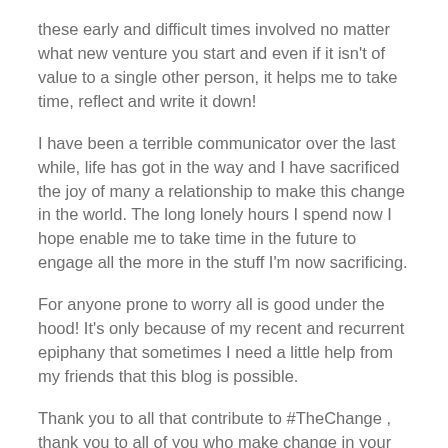these early and difficult times involved no matter what new venture you start and even if it isn't of value to a single other person, it helps me to take time, reflect and write it down!
I have been a terrible communicator over the last while, life has got in the way and I have sacrificed the joy of many a relationship to make this change in the world. The long lonely hours I spend now I hope enable me to take time in the future to engage all the more in the stuff I'm now sacrificing.
For anyone prone to worry all is good under the hood! It's only because of my recent and recurrent epiphany that sometimes I need a little help from my friends that this blog is possible.
Thank you to all that contribute to #TheChange , thank you to all of you who make change in your own right. Most of all thank you to those who have helped shape